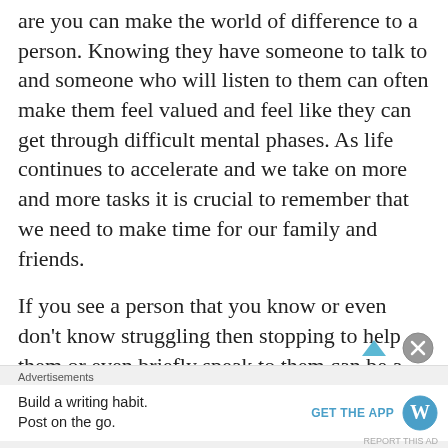are you can make the world of difference to a person. Knowing they have someone to talk to and someone who will listen to them can often make them feel valued and feel like they can get through difficult mental phases. As life continues to accelerate and we take on more and more tasks it is crucial to remember that we need to make time for our family and friends.
If you see a person that you know or even don't know struggling then stopping to help them or even briefly speak to them can be a real asset for someone. It does not only make you feel better personally but the difference you make to the person you talk to can be
Advertisements
Build a writing habit. Post on the go. GET THE APP